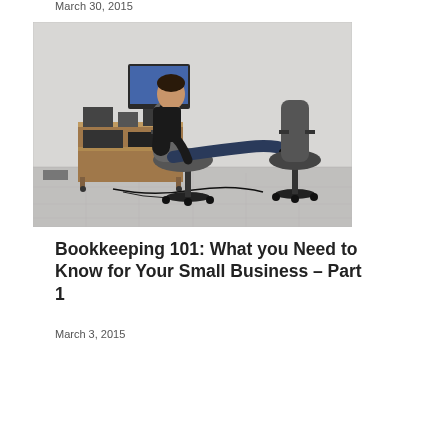March 30, 2015
[Figure (photo): A man sitting in an office chair with his feet up on a second chair, leaning back facing a computer desk with electronics and cables on a tiled floor.]
Bookkeeping 101: What you Need to Know for Your Small Business – Part 1
March 3, 2015